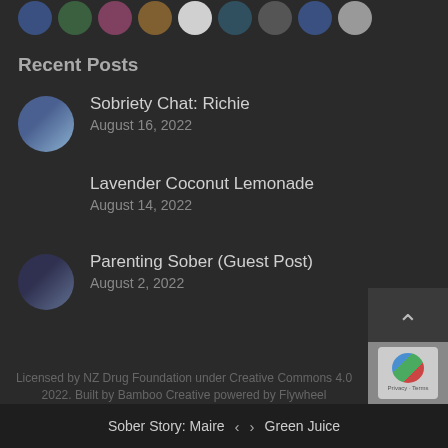[Figure (illustration): Row of circular avatar profile images partially visible at the top of the page]
Recent Posts
Sobriety Chat: Richie — August 16, 2022
Lavender Coconut Lemonade — August 14, 2022
Parenting Sober (Guest Post) — August 2, 2022
[Figure (illustration): Scroll-to-top button with upward caret chevron]
Licensed by NZ Drug Foundation under Creative Commons 4.0 2022. Built by Bamboo Creative powered by Flywheel
[Figure (logo): reCAPTCHA badge with Privacy and Terms text]
Sober Story: Maire   <   >   Green Juice